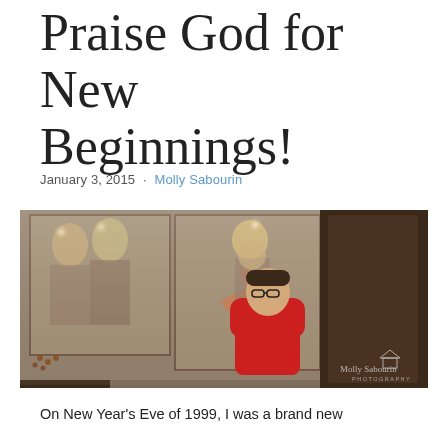Praise God for New Beginnings!
January 3, 2015 · Molly Sabourin
[Figure (photo): A boy wearing a red hoodie and glasses stands inside an Orthodox church, looking upward. Behind him are large religious icon paintings on the wall, including one depicting a figure carrying a cross. A wooden desk/counter and rosary beads are visible on the left. A photographer watermark 'Molly Sabourin Photography' appears in the lower right corner.]
On New Year's Eve of 1999, I was a brand new